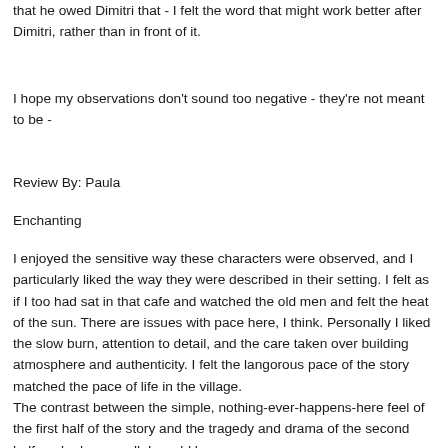that he owed Dimitri that - I felt the word that might work better after Dimitri, rather than in front of it.
I hope my observations don't sound too negative - they're not meant to be -
Review By: Paula
Enchanting
I enjoyed the sensitive way these characters were observed, and I particularly liked the way they were described in their setting. I felt as if I too had sat in that cafe and watched the old men and felt the heat of the sun. There are issues with pace here, I think. Personally I liked the slow burn, attention to detail, and the care taken over building atmosphere and authenticity. I felt the langorous pace of the story matched the pace of life in the village.
The contrast between the simple, nothing-ever-happens-here feel of the first half of the story and the tragedy and drama of the second half worked very well. I would have